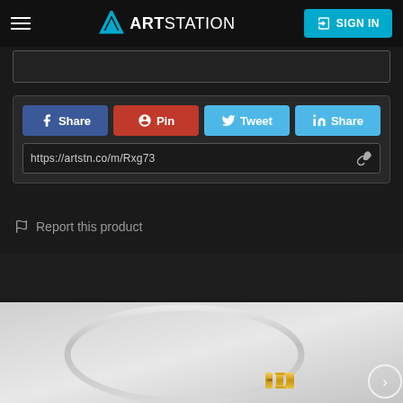ArtStation — SIGN IN
https://artstn.co/m/Rxg73
Share | Pin | Tweet | Share
Report this product
[Figure (photo): 3D rendered silver bangle bracelet with gold letter charms, displayed on a light gray background]